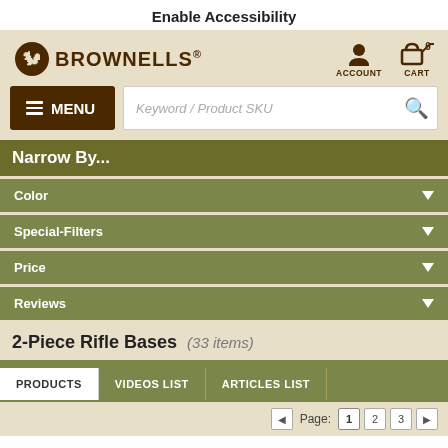Enable Accessibility
[Figure (logo): Brownells logo with squirrel icon and brand name]
ACCOUNT
CART
MENU (hamburger menu button) | Keyword / Product SKU (search box)
Narrow By...
Color
Special-Filters
Price
Reviews
2-Piece Rifle Bases  (33 items)
PRODUCTS | VIDEOS LIST | ARTICLES LIST
Page: 1 2 3